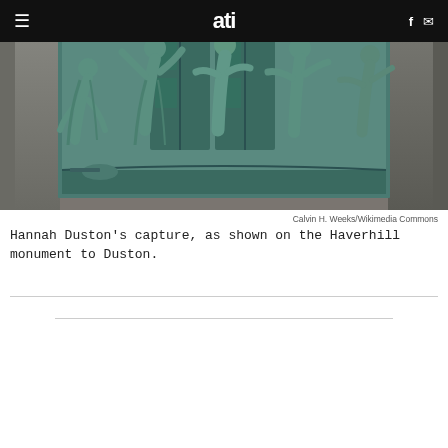ati (navigation bar with hamburger menu, logo, facebook and mail icons)
[Figure (photo): A bronze relief sculpture on the Haverhill monument to Hannah Duston, depicting robed figures in a scene of capture. The sculpture has a teal/verdigris patina against a granite background.]
Calvin H. Weeks/Wikimedia Commons
Hannah Duston's capture, as shown on the Haverhill monument to Duston.